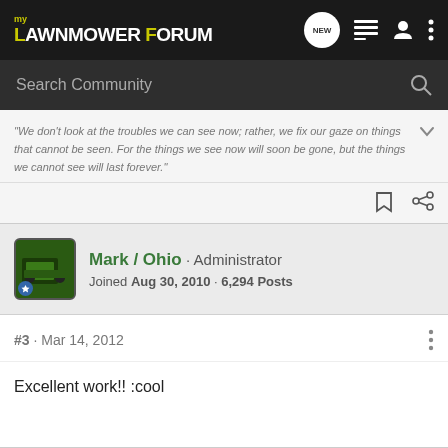My Lawnmower Forum
Search Community
"We don't look at the troubles we can see now; rather, we fix our gaze on things that cannot be seen. For the things we see now will soon be gone, but the things we cannot see will last forever."
Mark / Ohio · Administrator
Joined Aug 30, 2010 · 6,294 Posts
#3 · Mar 14, 2012
Excellent work!! :cool